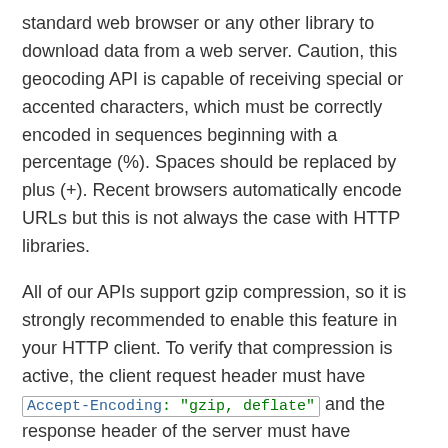standard web browser or any other library to download data from a web server. Caution, this geocoding API is capable of receiving special or accented characters, which must be correctly encoded in sequences beginning with a percentage (%). Spaces should be replaced by plus (+). Recent browsers automatically encode URLs but this is not always the case with HTTP libraries.
All of our APIs support gzip compression, so it is strongly recommended to enable this feature in your HTTP client. To verify that compression is active, the client request header must have Accept-Encoding: "gzip, deflate" and the response header of the server must have Content-Encoding: "gzip" . This reduces the data download time by almost 50%.
The response time of this API is less than 500ms. Thanks to our internal cache, the answers can be returned faster if the information has already been